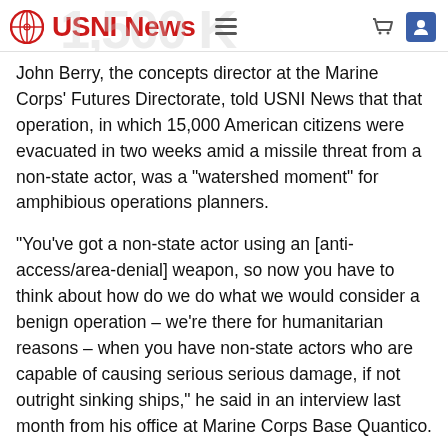USNI News
John Berry, the concepts director at the Marine Corps' Futures Directorate, told USNI News that that operation, in which 15,000 American citizens were evacuated in two weeks amid a missile threat from a non-state actor, was a “watershed moment” for amphibious operations planners.
“You’ve got a non-state actor using an [anti-access/area-denial] weapon, so now you have to think about how do we do what we would consider a benign operation – we’re there for humanitarian reasons – when you have non-state actors who are capable of causing serious serious damage, if not outright sinking ships,” he said in an interview last month from his office at Marine Corps Base Quantico.
“So we waited until we got a couple destroyers in there to provide air defense and we pulled off the operation, it was all